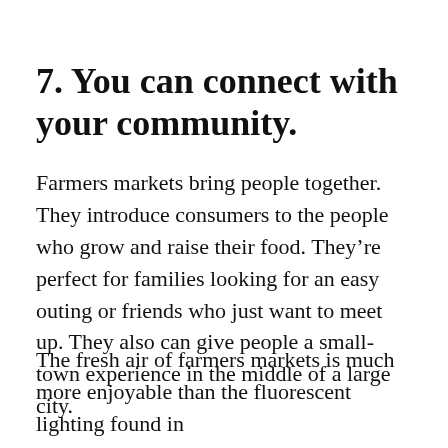7. You can connect with your community.
Farmers markets bring people together. They introduce consumers to the people who grow and raise their food. They’re perfect for families looking for an easy outing or friends who just want to meet up. They also can give people a small-town experience in the middle of a large city.
The fresh air of farmers markets is much more enjoyable than the fluorescent lighting found in